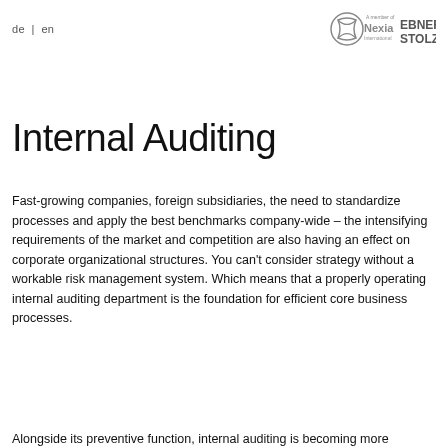de | en
[Figure (logo): Nexia International and Ebner Stolz logos in header]
Internal Auditing
Fast-growing companies, foreign subsidiaries, the need to standardize processes and apply the best benchmarks company-wide – the intensifying requirements of the market and competition are also having an effect on corporate organizational structures. You can't consider strategy without a workable risk management system. Which means that a properly operating internal auditing department is the foundation for efficient core business processes.
Alongside its preventive function, internal auditing is becoming more